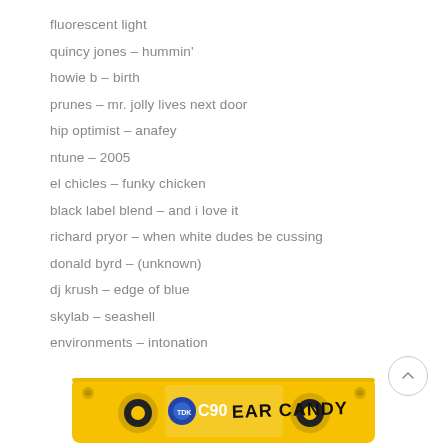fluorescent light
quincy jones – hummin'
howie b – birth
prunes – mr. jolly lives next door
hip optimist – anafey
ntune – 2005
el chicles – funky chicken
black label blend – and i love it
richard pryor – when white dudes be cussing
donald byrd – (unknown)
dj krush – edge of blue
skylab – seashell
environments – intonation
[Figure (photo): Yellow C90 cassette tape labeled 'EAR CANDY' in black handwritten text, partially visible at bottom of page]